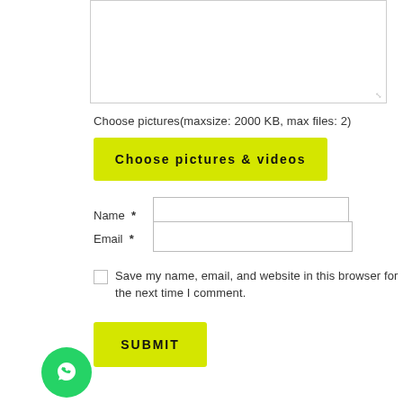[Figure (screenshot): Textarea input field with resize handle at bottom right]
Choose pictures(maxsize: 2000 KB, max files: 2)
[Figure (screenshot): Yellow button labeled 'Choose pictures & videos']
Name *
[Figure (screenshot): Name text input field]
Email *
[Figure (screenshot): Email text input field]
Save my name, email, and website in this browser for the next time I comment.
[Figure (screenshot): Yellow SUBMIT button]
[Figure (illustration): Green circular WhatsApp chat icon button]